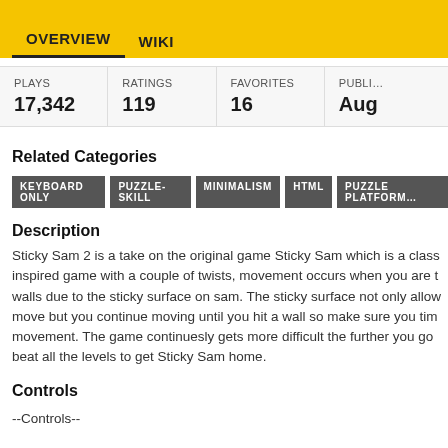OVERVIEW   WIKI
| PLAYS | RATINGS | FAVORITES | PUBLI… |
| --- | --- | --- | --- |
| 17,342 | 119 | 16 | Aug |
Related Categories
KEYBOARD ONLY   PUZZLE-SKILL   MINIMALISM   HTML   PUZZLE PLATFORM…
Description
Sticky Sam 2 is a take on the original game Sticky Sam which is a class inspired game with a couple of twists, movement occurs when you are t walls due to the sticky surface on sam. The sticky surface not only allow move but you continue moving until you hit a wall so make sure you tim movement. The game continuesly gets more difficult the further you go beat all the levels to get Sticky Sam home.
Controls
--Controls--

Arrow Keys / WASD == Move

R == Restart